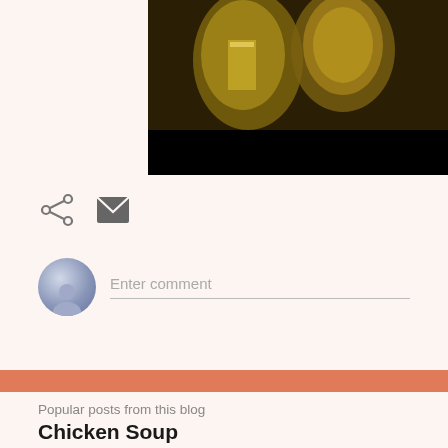[Figure (photo): Photo of two glass jars/cups on a dark surface, partially cropped, with black bar at bottom]
[Figure (infographic): Share icon (less-than with dots) and email/envelope icon, used as social sharing controls]
[Figure (infographic): User avatar circle with silhouette and 'Enter comment' placeholder text with underline input area]
Popular posts from this blog
Chicken Soup
- December 19, 2017